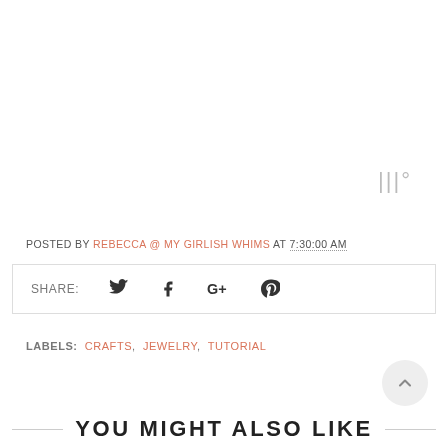POSTED BY REBECCA @ MY GIRLISH WHIMS AT 7:30:00 AM
SHARE:
LABELS: CRAFTS, JEWELRY, TUTORIAL
YOU MIGHT ALSO LIKE